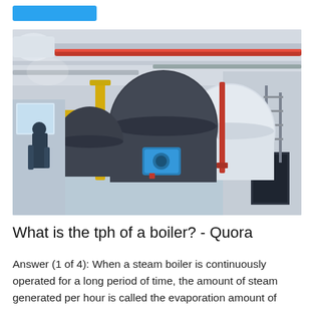[Figure (photo): Industrial boiler room interior with large cylindrical boilers, yellow pipe supports, red overhead pipe, blue motor unit, and metal scaffolding. Workers visible on the left side. The floor is light blue/grey.]
What is the tph of a boiler? - Quora
Answer (1 of 4): When a steam boiler is continuously operated for a long period of time, the amount of steam generated per hour is called the evaporation amount of